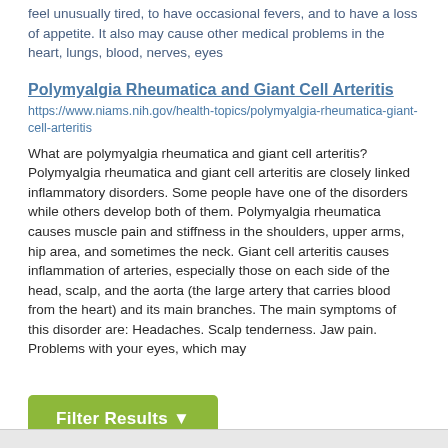feel unusually tired, to have occasional fevers, and to have a loss of appetite. It also may cause other medical problems in the heart, lungs, blood, nerves, eyes
Polymyalgia Rheumatica and Giant Cell Arteritis
https://www.niams.nih.gov/health-topics/polymyalgia-rheumatica-giant-cell-arteritis
What are polymyalgia rheumatica and giant cell arteritis? Polymyalgia rheumatica and giant cell arteritis are closely linked inflammatory disorders. Some people have one of the disorders while others develop both of them. Polymyalgia rheumatica causes muscle pain and stiffness in the shoulders, upper arms, hip area, and sometimes the neck. Giant cell arteritis causes inflammation of arteries, especially those on each side of the head, scalp, and the aorta (the large artery that carries blood from the heart) and its main branches. The main symptoms of this disorder are: Headaches. Scalp tenderness. Jaw pain. Problems with your eyes, which may
Filter Results ▼